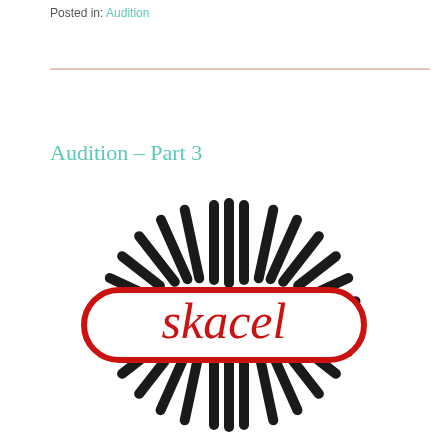Posted in: Audition
Audition – Part 3
[Figure (logo): Skacel yarn brand logo: a stylized yarn ball made of vertical bars arranged in a sunburst/starburst pattern in black, with a red rounded rectangle banner overlay containing the word 'skacel' in red handwritten-style script.]